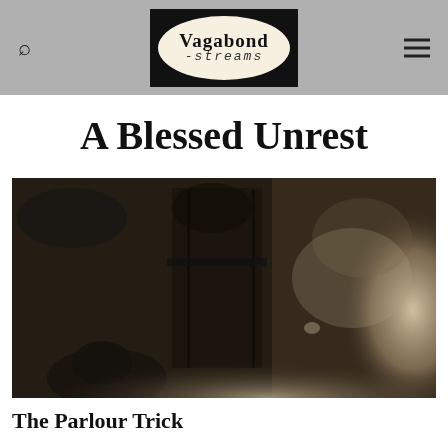Vagabond Streams
A Blessed Unrest
[Figure (photo): A dark, sepia-toned vintage photograph showing a shadowy interior scene with a figure near what appears to be a doorway or furniture, with misty/foggy areas.]
The Parlour Trick